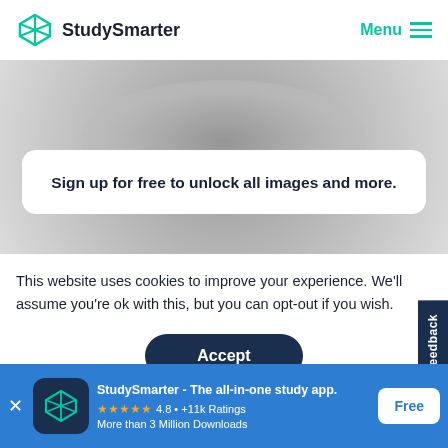StudySmarter   Menu
[Figure (screenshot): Blurred grayscale background image showing a person, partially visible behind modal overlay]
Sign up for free to unlock all images and more.
This website uses cookies to improve your experience. We'll assume you're ok with this, but you can opt-out if you wish.
Accept
Feedback
StudySmarter - The all-in-one study app.
★★★★★  4.8 • +11k Ratings
More than 3 Million Downloads
Free